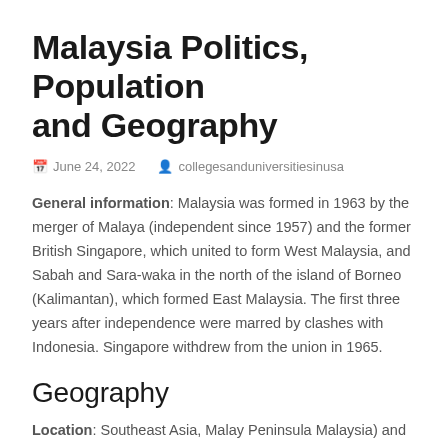Malaysia Politics, Population and Geography
June 24, 2022   collegesanduniversitiesinusa
General information: Malaysia was formed in 1963 by the merger of Malaya (independent since 1957) and the former British Singapore, which united to form West Malaysia, and Sabah and Sara-waka in the north of the island of Borneo (Kalimantan), which formed East Malaysia. The first three years after independence were marred by clashes with Indonesia. Singapore withdrew from the union in 1965.
Geography
Location: Southeast Asia, Malay Peninsula Malaysia) and the northern third of the island of Borneo (Kalimantan), on the border with Indonesia and the coast of the South China Sea, south of Vietnam. See franciscogardening.com to know more about Malaysia Geography.